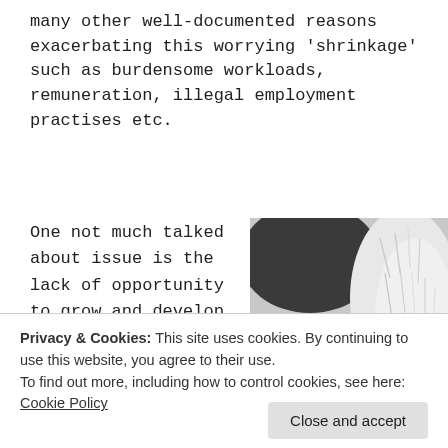many other well-documented reasons exacerbating this worrying 'shrinkage' such as burdensome workloads, remuneration, illegal employment practises etc.
One not much talked about issue is the lack of opportunity to grow and develop new skills within a
[Figure (photo): Close-up photo of hands braiding or plaiting white/silver hair of an animal, likely a horse or dog]
Privacy & Cookies: This site uses cookies. By continuing to use this website, you agree to their use.
To find out more, including how to control cookies, see here: Cookie Policy
long as said
[Figure (photo): Partial photo at bottom right, partially obscured]